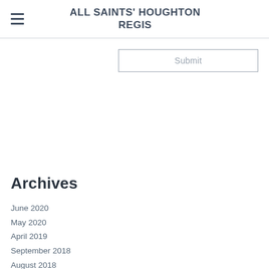ALL SAINTS' HOUGHTON REGIS
Submit
Archives
June 2020
May 2020
April 2019
September 2018
August 2018